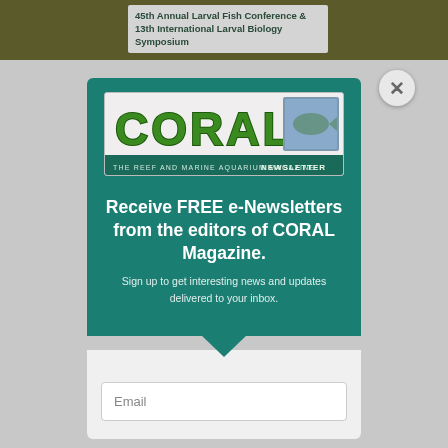45th Annual Larval Fish Conference & 13th International Larval Biology Symposium
[Figure (logo): CORAL - The Reef and Marine Aquarium Magazine Newsletter logo with green text and fish stamp image]
Receive FREE e-Newsletters from the editors of CORAL Magazine.
Sign up to get interesting news and updates delivered to your inbox.
Email